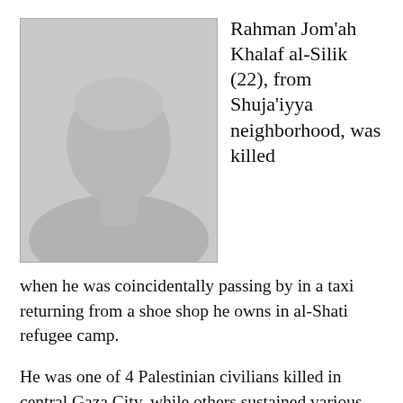[Figure (photo): Placeholder silhouette portrait photo of a person, gray background with darker gray head/shoulder silhouette, rectangular border]
Rahman Jom'ah Khalaf al-Silik (22), from Shuja'iyya neighborhood, was killed when he was coincidentally passing by in a taxi returning from a shoe shop he owns in al-Shati refugee camp.
He was one of 4 Palestinian civilians killed in central Gaza City, while others sustained various injuries in Israeli airstrikes conducted only a few